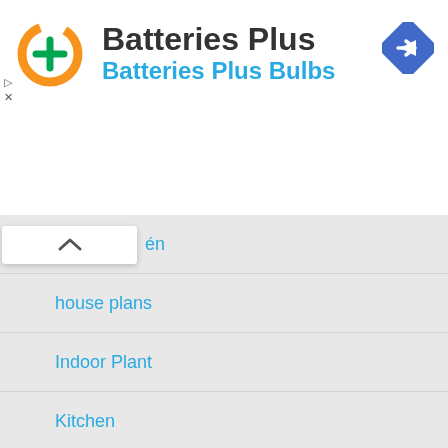Batteries Plus
Batteries Plus Bulbs
en
house plans
Indoor Plant
Kitchen
laundry room
living room
Patio
Small Garden